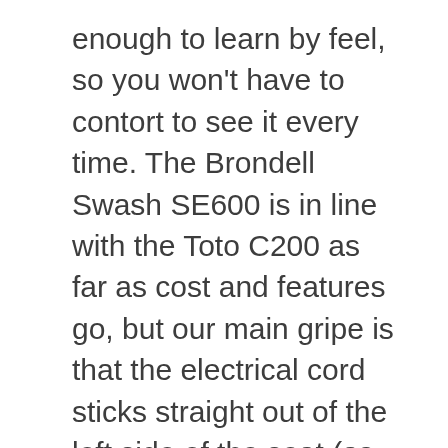enough to learn by feel, so you won't have to contort to see it every time. The Brondell Swash SE600 is in line with the Toto C200 as far as cost and features go, but our main gripe is that the electrical cord sticks straight out of the left side of the seat (as you're sitting). And you have to change the filters regularly. He lives in a very demanding 250-year-old farmhouse and spent four years gutting and rebuilding his previous home. First, remove the old toilet seat and replace it with a thin plastic mounting bracket (it attaches through the same holes). The front has the controls for the features you'd use on a day-to-day basis: to activate the wash, change the water pressure, move the nozzle, activate the